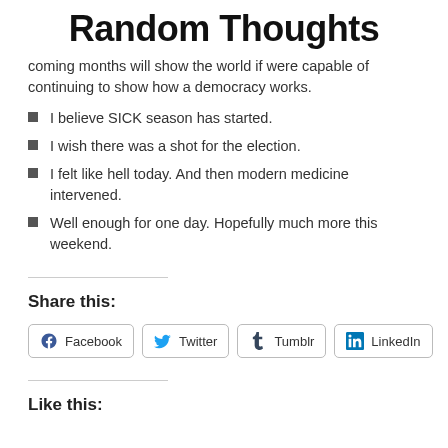Random Thoughts
coming months will show the world if were capable of continuing to show how a democracy works.
I believe SICK season has started.
I wish there was a shot for the election.
I felt like hell today. And then modern medicine intervened.
Well enough for one day. Hopefully much more this weekend.
Share this:
Facebook  Twitter  Tumblr  LinkedIn
Like this: